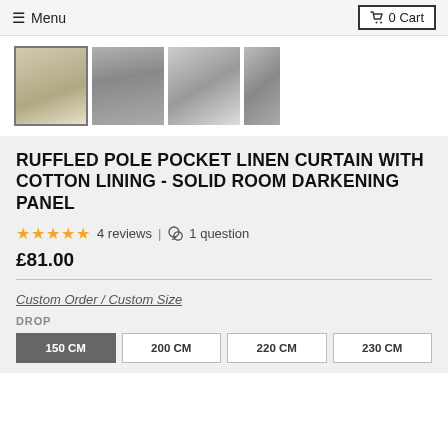≡ Menu   🛒 0 Cart
[Figure (photo): Four thumbnail images of linen curtains shown in a horizontal strip. First thumbnail is selected (with border), showing ruffled curtain panel with natural light. Second shows dark grey curtain. Third shows close-up of grey curtain fabric. Fourth is partially visible.]
RUFFLED POLE POCKET LINEN CURTAIN WITH COTTON LINING - SOLID ROOM DARKENING PANEL
★★★★★ 4 reviews | 🎧 1 question
£81.00
Custom Order / Custom Size
DROP
150 CM   200 CM   220 CM   230 CM